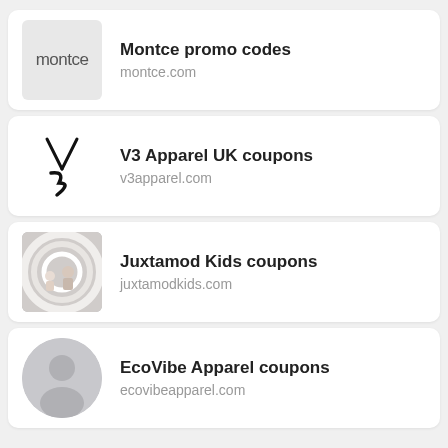Montce promo codes
montce.com
V3 Apparel UK coupons
v3apparel.com
Juxtamod Kids coupons
juxtamodkids.com
EcoVibe Apparel coupons
ecovibeapparel.com